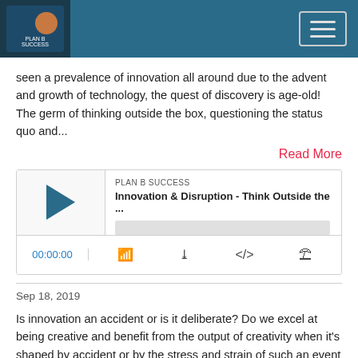[Figure (other): Website header bar with podcast logo image on left and hamburger menu button on right, dark teal background]
seen a prevalence of innovation all around due to the advent and growth of technology, the quest of discovery is age-old! The germ of thinking outside the box, questioning the status quo and...
Read More
[Figure (other): Podcast audio player widget showing PLAN B SUCCESS label, episode title 'Innovation & Disruption - Think Outside the ...', play button, progress bar, time display 00:00:00, and control icons for RSS, download, embed, and share]
Sep 18, 2019
Is innovation an accident or is it deliberate? Do we excel at being creative and benefit from the output of creativity when it's shaped by accident or by the stress and strain of such an event when it occurs unplanned? Or is innovation and its output at its best when it's a conscious exercise which is